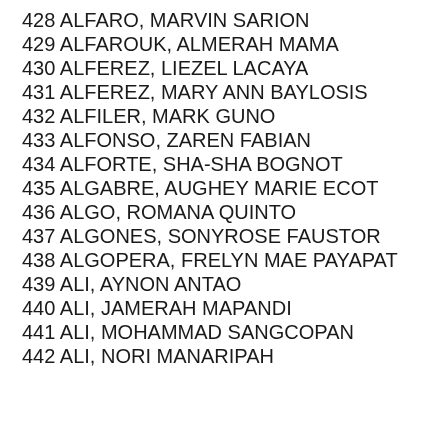428 ALFARO, MARVIN SARION
429 ALFAROUK, ALMERAH MAMA
430 ALFEREZ, LIEZEL LACAYA
431 ALFEREZ, MARY ANN BAYLOSIS
432 ALFILER, MARK GUNO
433 ALFONSO, ZAREN FABIAN
434 ALFORTE, SHA-SHA BOGNOT
435 ALGABRE, AUGHEY MARIE ECOT
436 ALGO, ROMANA QUINTO
437 ALGONES, SONYROSE FAUSTOR
438 ALGOPERA, FRELYN MAE PAYAPAT
439 ALI, AYNON ANTAO
440 ALI, JAMERAH MAPANDI
441 ALI, MOHAMMAD SANGCOPAN
442 ALI, NORI MANARIPAH